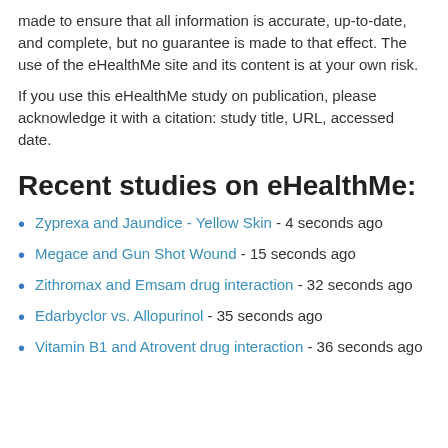made to ensure that all information is accurate, up-to-date, and complete, but no guarantee is made to that effect. The use of the eHealthMe site and its content is at your own risk.
If you use this eHealthMe study on publication, please acknowledge it with a citation: study title, URL, accessed date.
Recent studies on eHealthMe:
Zyprexa and Jaundice - Yellow Skin - 4 seconds ago
Megace and Gun Shot Wound - 15 seconds ago
Zithromax and Emsam drug interaction - 32 seconds ago
Edarbyclor vs. Allopurinol - 35 seconds ago
Vitamin B1 and Atrovent drug interaction - 36 seconds ago